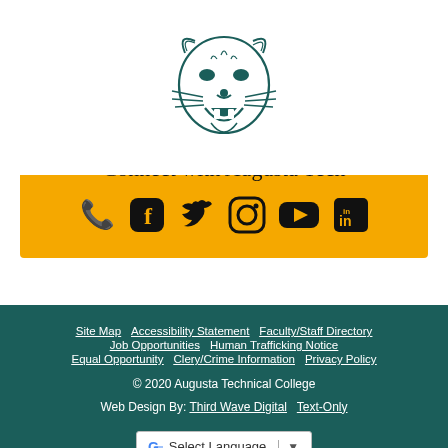[Figure (logo): Augusta Technical College jaguar mascot logo — teal/dark green line art of a jaguar head facing forward with mouth open]
Connect with Augusta Tech
[Figure (infographic): Social media icons: phone, Facebook, Twitter, Instagram, YouTube, LinkedIn]
Site Map   Accessibility Statement   Faculty/Staff Directory   Job Opportunities   Human Trafficking Notice   Equal Opportunity   Clery/Crime Information   Privacy Policy
© 2020 Augusta Technical College
Web Design By: Third Wave Digital   Text-Only
[Figure (other): Google Translate widget with 'Select Language' dropdown]